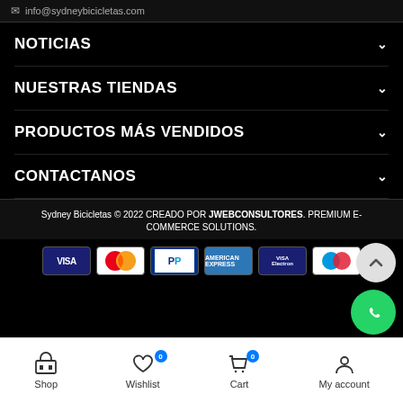info@sydneybicicletas.com
NOTICIAS
NUESTRAS TIENDAS
PRODUCTOS MÁS VENDIDOS
CONTACTANOS
Sydney Bicicletas © 2022 CREADO POR JWEBCONSULTORES. PREMIUM E-COMMERCE SOLUTIONS.
[Figure (other): Payment method icons: VISA, Mastercard, PayPal, American Express, VISA Electron, Maestro]
Shop | Wishlist 0 | Cart 0 | My account